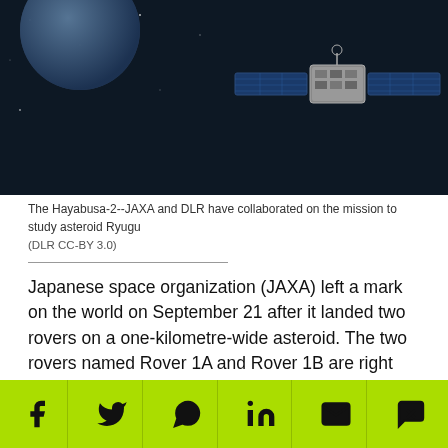[Figure (photo): Hayabusa-2 spacecraft against dark space background with solar panels extended]
The Hayabusa-2--JAXA and DLR have collaborated on the mission to study asteroid Ryugu
(DLR CC-BY 3.0)
Japanese space organization (JAXA) left a mark on the world on September 21 after it landed two rovers on a one-kilometre-wide asteroid. The two rovers named Rover 1A and Rover 1B are right now on asteroid Ryugu in an attempt to capture pictures and record its surface temperatures.
They have now been joined by a third member of their
[Figure (infographic): Social media sharing bar with Facebook, Twitter, WhatsApp, LinkedIn, Email, and Messenger icons on lime green background]